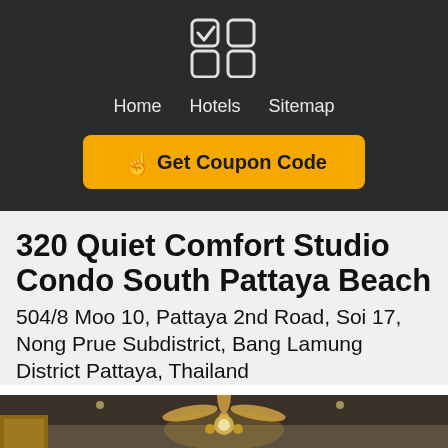[Figure (logo): App icon with checkmark and grid squares logo]
Home   Hotels   Sitemap
[Figure (other): Yellow Get Coupon Code button with hand pointer icon]
320 Quiet Comfort Studio Condo South Pattaya Beach
504/8 Moo 10, Pattaya 2nd Road, Soi 17, Nong Prue Subdistrict, Bang Lamung District Pattaya, Thailand
[Figure (photo): Interior photo of hotel room showing ceiling fan with lights]